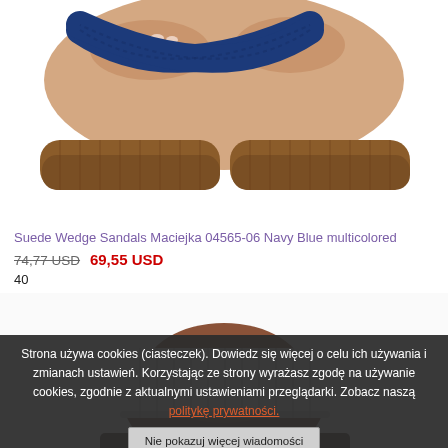[Figure (photo): Close-up photo of a pair of suede wedge sandals with navy blue crossed straps and brown woven platform sole, worn on feet against white background.]
Suede Wedge Sandals Maciejka 04565-06 Navy Blue multicolored
74,77 USD 69,55 USD
40
[Figure (photo): Photo of a white ruffled sandal strap worn on a dark-skinned ankle/foot, white background, partially cut off.]
Strona używa cookies (ciasteczek). Dowiedz się więcej o celu ich używania i zmianach ustawień. Korzystając ze strony wyrażasz zgodę na używanie cookies, zgodnie z aktualnymi ustawieniami przeglądarki. Zobacz naszą politykę prywatności.
Nie pokazuj więcej wiadomości